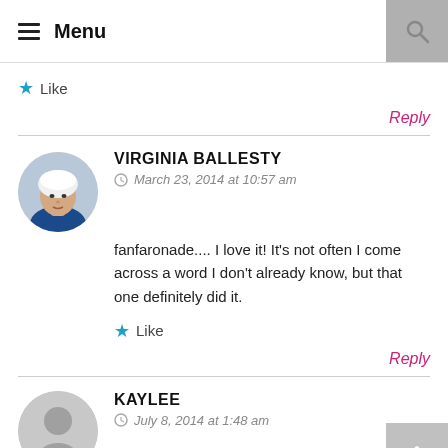Menu
Like
Reply
VIRGINIA BALLESTY
March 23, 2014 at 10:57 am
fanfaronade.... I love it! It’s not often I come across a word I don’t already know, but that one definitely did it.
Like
Reply
KAYLEE
July 8, 2014 at 1:48 am